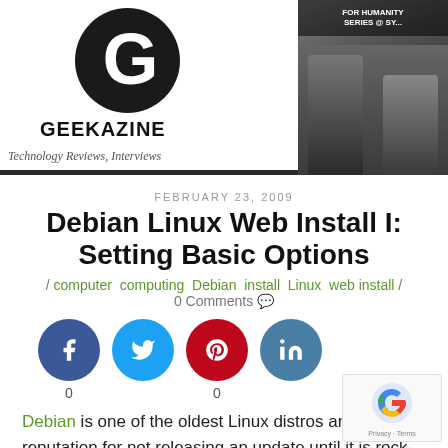[Figure (photo): Geekazine website header banner with logo on white background left side showing a circular G logo and GEEKAZINE text with tagline 'Technology Reviews, Interviews' and a photo of two men on the right side with text 'FOR HUMANITY SERIES @ SY...']
FEBRUARY 23, 2009
Debian Linux Web Install I: Setting Basic Options
/ computer computing Debian install Linux web install / 0 Comments
[Figure (infographic): Social sharing buttons row: Facebook (blue circle, f icon), Twitter (cyan circle, bird icon), Pinterest (red circle, P icon), LinkedIn (steel blue circle, in icon), with counts 0 below Facebook and 0 below Pinterest]
Debian is one of the oldest Linux distros and has a reputation for not releasing an update until it is rock-